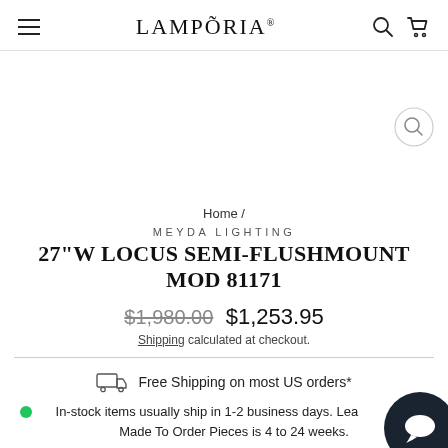LAMPORIA
Home /
MEYDA LIGHTING
27"W LOCUS SEMI-FLUSHMOUNT MOD 81171
$1,980.00  $1,253.95
Shipping calculated at checkout.
Free Shipping on most US orders*
In-stock items usually ship in 1-2 business days. Lead time for Made To Order Pieces is 4 to 24 weeks.